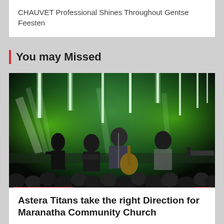CHAUVET Professional Shines Throughout Gentse Feesten
You may Missed
[Figure (photo): Concert photo showing musicians on stage lit with bright green and white lights, with an audience in the foreground and vertical beam lights in the background. A red 'LIGHTING NEWS' badge is in the bottom left corner.]
LIGHTING NEWS
Astera Titans take the right Direction for Maranatha Community Church